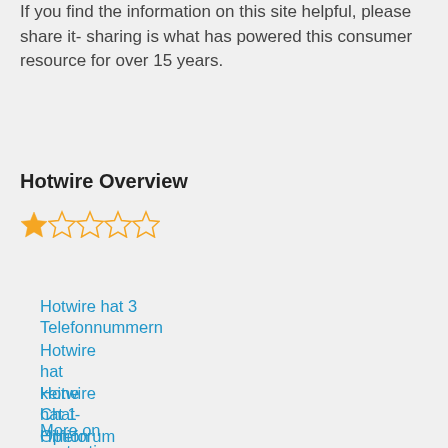If you find the information on this site helpful, please share it- sharing is what has powered this consumer resource for over 15 years.
Hotwire Overview
1.24 out of 5 | 105 reviews
Hotwire hat 3 Telefonnummern
Hotwire hat keine Chat-Option
Hotwire hat 1 Hilfeforum
More on contacting customer support
How-to guides for common problems